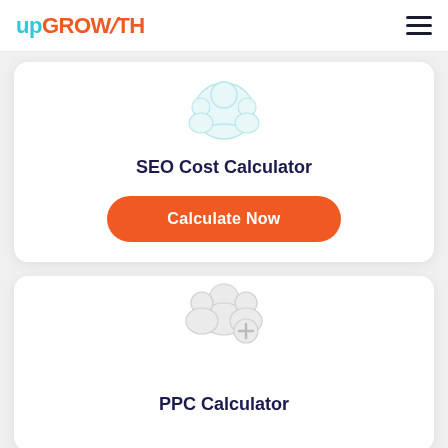upGROWTH
[Figure (illustration): SEO Cost Calculator card with a circular people/search icon, title 'SEO Cost Calculator' and an orange 'Calculate Now' button]
SEO Cost Calculator
[Figure (illustration): PPC Calculator card with a circular users/add icon]
PPC Calculator